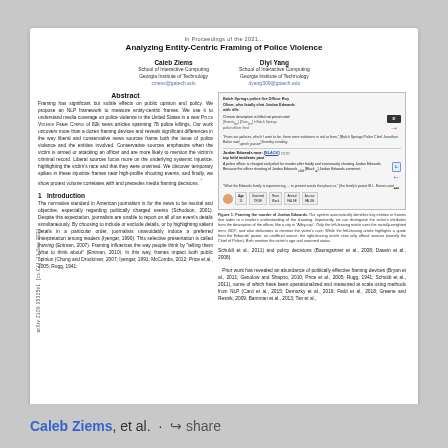Analyzing Entity-Centric Framing of Police Violence
Caleb Ziems
School of Interactive Computing
Georgia Institute of Technology
cziens@gatech.edu
Diyi Yang
School of Interactive Computing
Georgia Institute of Technology
dyang309@gatech.edu
Abstract
Framing has significant but subtle effects on public opinion and policy. We propose an NLP framework to measure entity-centric frames. We use it to understand media coverage on police violence in the United States in a new POLICE VIOLENCE FRAME CORPUS of 82k news articles spanning 78 police killings. Our work uncovers more than a dozen framing devices and reveals significant differences in the way liberal and conservative news sources frame both the issue of police violence and the entities involved. Conservative sources emphasize when the victim is armed or attacking an officer and are more likely to mention the victim's criminal record. Liberal sources focus more on the underlying systemic injustice, highlighting the victim's race and that they were unarmed. We discover temporary spikes in these injustice frames near high-profile shooting events, and finally, we show protest volume correlates with and precedes media framing decisions.
1 Introduction
The normative standard in American journalism is for the news to be neutral and objective, especially regarding politically charged events (Schudson, 2001). Despite this expectation, journalists are unable to report on all of an event's details simultaneously. By choosing to include or exclude details, or by highlighting salient details in a particular order, journalists unavoidably induce a preferred interpretation among readers (Iyengar, 1990). This selective presentation is called framing (Entman, 2007). Framing influences the way people think by "telling them what to think about" (Entman, 2010). In this way, frames impact both public opinion (Chong and Druckman, 2007; Iyengar, 1991; McCombs, 2012; Price et al., 2005; Rugg, 1941;
[Figure (infographic): Figure showing entity-centric framing analysis of a news article about Jordan Edwards' shooting, with entity tags, arrows indicating framing direction (left-leaning vs right-leaning sources), and metadata badges.]
Figure 1: Framing the murder of Jordan Edwards. Our system automatically identifies key entities or frames that aides to a reader's understanding of the shooting. Importantly, we can distinguish the victim's attributes from the description of the officer, like a city in "Alley cop". Only the left-leaning article uses the racially-weighted term, BOY, and also elaborates to mention the victim's race. While the left-leaning article highlights a quote from the Edwards' pastor, an unofficial source, the right-leaning article cites only official sources (namely the Chief of Police). Both mention the victim's age and unarmed status.
Schuldt et al., 2011) and policy decisions (Baumgartner et al., 2008; Dasein et al., 2008). Prior work has revealed an abundance of politically effective framing devices (Bryan et al., 2011; Genolow and Shapiro, 2010; Price et al., 2005; Rugg, 1941; Schuldt et al., 2011), some of which have been operationalized and measured at scale using methods from NLP (Card et al., 2015; Demszky et al., 2019; Field et al., 2018; Greene and Resnik, 2009; Bamman et al., 2013; Tan et al.,
Caleb Ziems, et al. · share